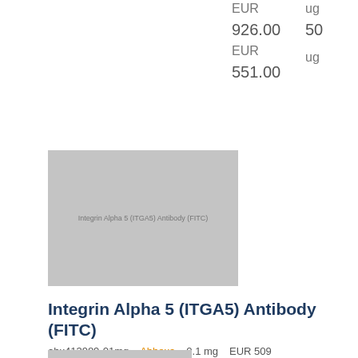EUR
ug
926.00
50
EUR
ug
551.00
[Figure (photo): Thumbnail image of Integrin Alpha 5 (ITGA5) Antibody (FITC) product with label text overlay]
Integrin Alpha 5 (ITGA5) Antibody (FITC)
abx413989-01mg   Abbexa   0.1 mg   EUR 509
[Figure (photo): Partial thumbnail image at bottom of page]